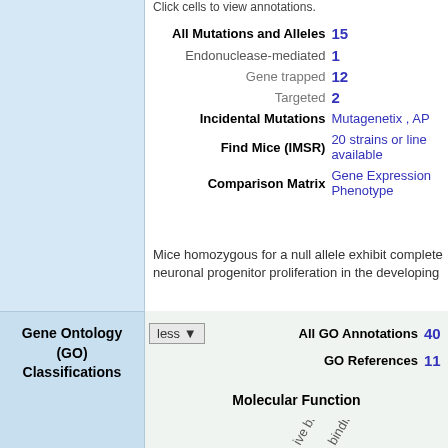Click cells to view annotations.
| Label | Value |
| --- | --- |
| All Mutations and Alleles | 15 |
| Endonuclease-mediated | 1 |
| Gene trapped | 12 |
| Targeted | 2 |
| Incidental Mutations | Mutagenetix , AP |
| Find Mice (IMSR) | 20 strains or lines available |
| Comparison Matrix | Gene Expression , Phenotype |
Mice homozygous for a null allele exhibit complete neuronal progenitor proliferation in the developing
Gene Ontology (GO) Classifications
|  | Label | Value |
| --- | --- | --- |
| less ▼ | All GO Annotations | 40 |
|  | GO References | 11 |
Molecular Function
[Figure (other): Rotated axis labels for Molecular Function chart showing 'ive binding' and 'binding' text at bottom]